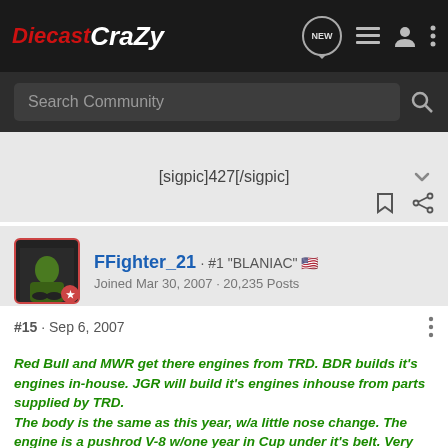DiecastCrazy — NEW nav, list, user, more icons
Search Community
[sigpic]427[/sigpic]
FFighter_21 · #1 "BLANIAC" 🇺🇸
Joined Mar 30, 2007 · 20,235 Posts
#15 · Sep 6, 2007
Red Bull and MWR get there engines from TRD. BDR builds it's engines in-house. JGR will build it's engines inhouse from parts supplied by TRD. The body is the same as this year, w/a little nose change. The engine is a pushrod V-8 w/one year in Cup under it's belt. Very sucessful in trucks. This will not slow down JGR